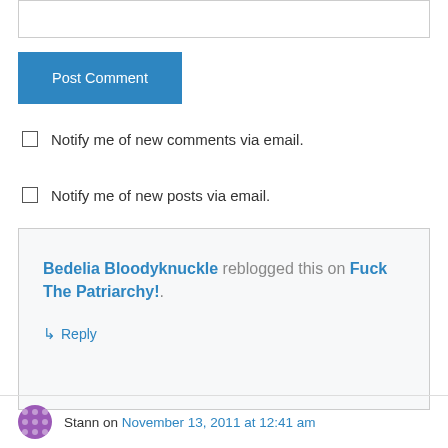[Figure (screenshot): Text input box for comment]
Post Comment
Notify me of new comments via email.
Notify me of new posts via email.
Bedelia Bloodyknuckle reblogged this on Fuck The Patriarchy!.
↳ Reply
Stann on November 13, 2011 at 12:41 am